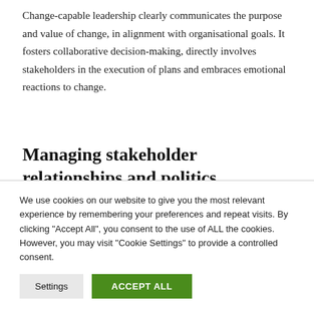Change-capable leadership clearly communicates the purpose and value of change, in alignment with organisational goals. It fosters collaborative decision-making, directly involves stakeholders in the execution of plans and embraces emotional reactions to change.
Managing stakeholder relationships and politics
We use cookies on our website to give you the most relevant experience by remembering your preferences and repeat visits. By clicking "Accept All", you consent to the use of ALL the cookies. However, you may visit "Cookie Settings" to provide a controlled consent.